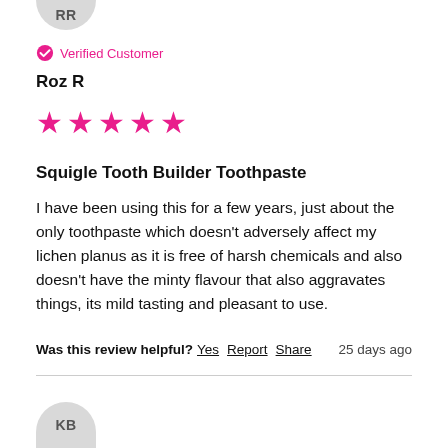[Figure (illustration): Circular avatar with initials RR, partially visible at top]
Verified Customer
Roz R
[Figure (other): 5 pink star rating]
Squigle Tooth Builder Toothpaste
I have been using this for a few years, just about the only toothpaste which doesn't adversely affect my lichen planus as it is free of harsh chemicals and also doesn't have the minty flavour that also aggravates things, its mild tasting and pleasant to use.
Was this review helpful? Yes Report Share 25 days ago
[Figure (illustration): Circular avatar with initials KB, partially visible at bottom]